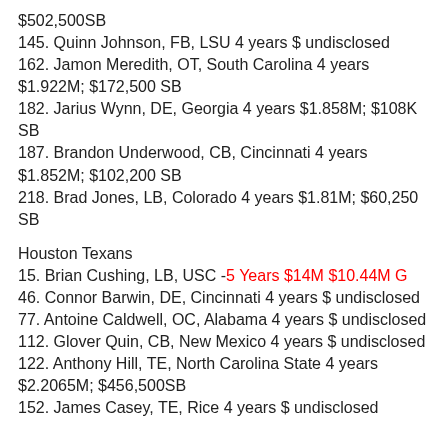$502,500SB
145. Quinn Johnson, FB, LSU 4 years $ undisclosed
162. Jamon Meredith, OT, South Carolina 4 years $1.922M; $172,500 SB
182. Jarius Wynn, DE, Georgia 4 years $1.858M; $108K SB
187. Brandon Underwood, CB, Cincinnati 4 years $1.852M; $102,200 SB
218. Brad Jones, LB, Colorado 4 years $1.81M; $60,250 SB
Houston Texans
15. Brian Cushing, LB, USC -5 Years $14M $10.44M G
46. Connor Barwin, DE, Cincinnati 4 years $ undisclosed
77. Antoine Caldwell, OC, Alabama 4 years $ undisclosed
112. Glover Quin, CB, New Mexico 4 years $ undisclosed
122. Anthony Hill, TE, North Carolina State 4 years $2.2065M; $456,500SB
152. James Casey, TE, Rice 4 years $ undisclosed